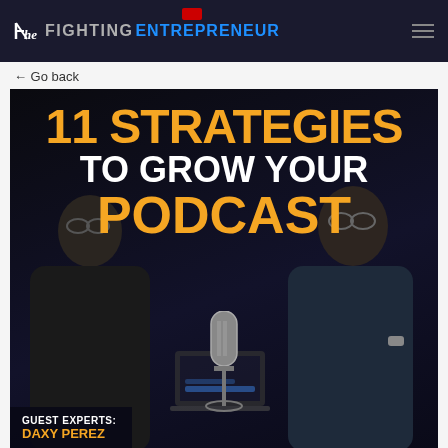The Fighting Entrepreneur
← Go back
[Figure (photo): Podcast episode thumbnail showing two men in a dark studio setting with a microphone. Text reads '11 STRATEGIES TO GROW YOUR PODCAST'. Guest Experts: DAXY PEREZ shown at bottom left.]